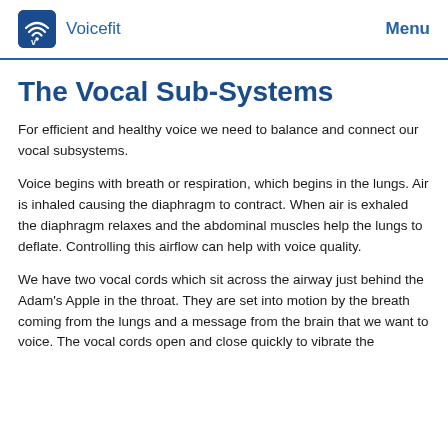Voicefit   Menu
The Vocal Sub-Systems
For efficient and healthy voice we need to balance and connect our vocal subsystems.
Voice begins with breath or respiration, which begins in the lungs. Air is inhaled causing the diaphragm to contract. When air is exhaled the diaphragm relaxes and the abdominal muscles help the lungs to deflate. Controlling this airflow can help with voice quality.
We have two vocal cords which sit across the airway just behind the Adam’s Apple in the throat. They are set into motion by the breath coming from the lungs and a message from the brain that we want to voice. The vocal cords open and close quickly to vibrate the